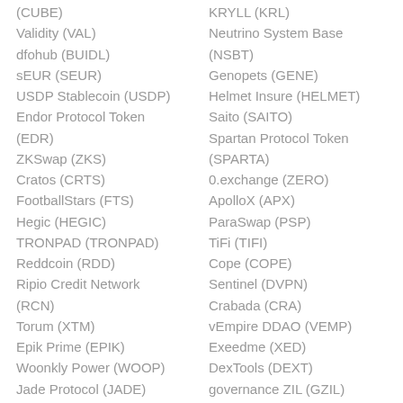(CUBE)
Validity (VAL)
dfohub (BUIDL)
sEUR (SEUR)
USDP Stablecoin (USDP)
Endor Protocol Token (EDR)
ZKSwap (ZKS)
Cratos (CRTS)
FootballStars (FTS)
Hegic (HEGIC)
TRONPAD (TRONPAD)
Reddcoin (RDD)
Ripio Credit Network (RCN)
Torum (XTM)
Epik Prime (EPIK)
Woonkly Power (WOOP)
Jade Protocol (JADE)
KRYLL (KRL)
Neutrino System Base (NSBT)
Genopets (GENE)
Helmet Insure (HELMET)
Saito (SAITO)
Spartan Protocol Token (SPARTA)
0.exchange (ZERO)
ApolloX (APX)
ParaSwap (PSP)
TiFi (TIFI)
Cope (COPE)
Sentinel (DVPN)
Crabada (CRA)
vEmpire DDAO (VEMP)
Exeedme (XED)
DexTools (DEXT)
governance ZIL (GZIL)